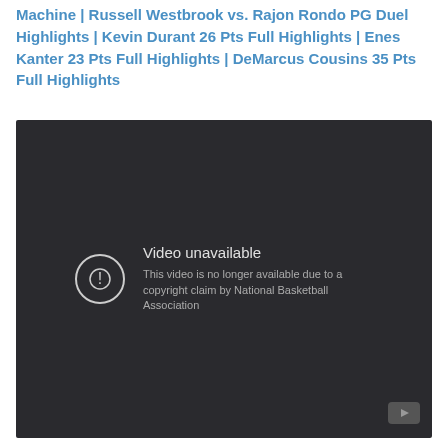Machine | Russell Westbrook vs. Rajon Rondo PG Duel Highlights | Kevin Durant 26 Pts Full Highlights | Enes Kanter 23 Pts Full Highlights | DeMarcus Cousins 35 Pts Full Highlights
[Figure (screenshot): Embedded YouTube video player showing 'Video unavailable' error: 'This video is no longer available due to a copyright claim by National Basketball Association']